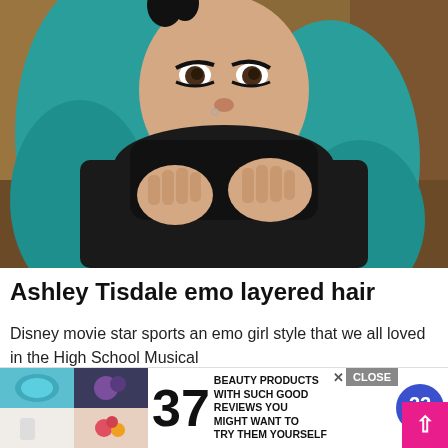[Figure (photo): Young woman with teal/blue dyed long hair, wearing a black turtleneck sweater, holding the collar up to her face with both hands, photographed outdoors with autumn leaves in the background.]
Ashley Tisdale emo layered hair
Disney movie star sports an emo girl style that we all loved in the High School Musical
[Figure (infographic): Advertisement banner: '37 BEAUTY PRODUCTS WITH SUCH GOOD REVIEWS YOU MIGHT WANT TO TRY THEM YOURSELF' with a badge showing '22 WORDS' and CLOSE button.]